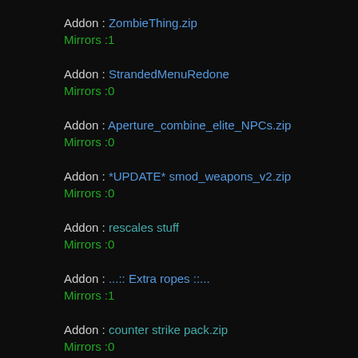Addon : ZombieThing.zip
Mirrors :1
Addon : StrandedMenuRedone
Mirrors :0
Addon : Aperture_combine_elite_NPCs.zip
Mirrors :0
Addon : *UPDATE* smod_weapons_v2.zip
Mirrors :0
Addon : rescales stuff
Mirrors :0
Addon : ...:: Extra ropes ::...
Mirrors :1
Addon : counter strike pack.zip
Mirrors :0
Addon : crazy's monster truck.zip
Mirrors :0
Addon : proto_quarrytown.zip
Mirrors :0